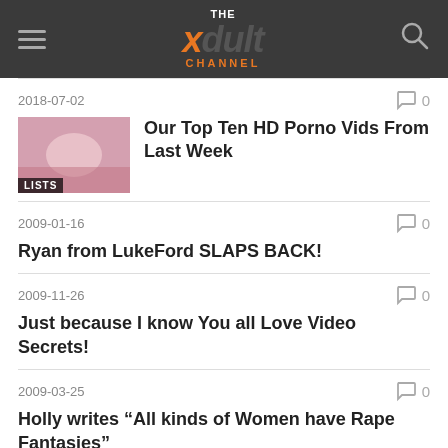THE xdult CHANNEL
2018-07-02 | Our Top Ten HD Porno Vids From Last Week | comments: 0
2009-01-16 | Ryan from LukeFord SLAPS BACK! | comments: 0
2009-11-26 | Just because I know You all Love Video Secrets! | comments: 0
2009-03-25 | Holly writes “All kinds of Women have Rape Fantasies” | comments: 0
2018-03-06 | Mia Khalifa: I quit porn over Isis death | comments: 0